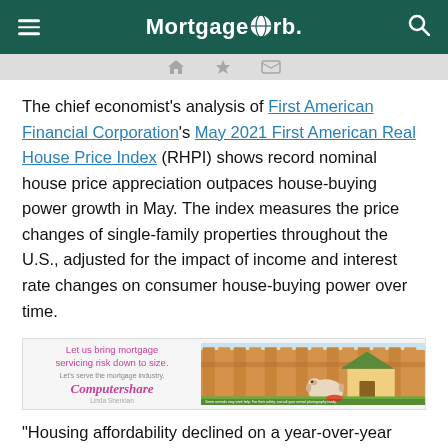MortgageOrb.
The chief economist's analysis of First American Financial Corporation's May 2021 First American Real House Price Index (RHPI) shows record nominal house price appreciation outpaces house-buying power growth in May. The index measures the price changes of single-family properties throughout the U.S., adjusted for the impact of income and interest rate changes on consumer house-buying power over time.
[Figure (photo): Computershare advertisement reading 'Let us bring mortgage servicing risk down to size. Let's serve the mortgage industry.' with an image of a small animal (hamster/guinea pig) beside a tiny house with a green roof, set against a wooden fence background.]
“Housing affordability declined on a year-over-year basis for the third month in a row in May, following a two-year streak